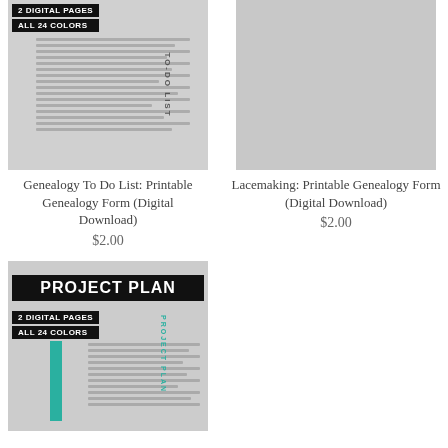[Figure (photo): Product image for Genealogy To Do List printable form showing to-do list pages with badges reading '2 DIGITAL PAGES' and 'ALL 24 COLORS']
[Figure (photo): Product image placeholder for Lacemaking Printable Genealogy Form (gray background, minimal content visible)]
Genealogy To Do List: Printable Genealogy Form (Digital Download)
$2.00
Lacemaking: Printable Genealogy Form (Digital Download)
$2.00
[Figure (photo): Product image for Project Plan printable form showing PROJECT PLAN header badge, '2 DIGITAL PAGES', 'ALL 24 COLORS' badges, teal accent bar, and form lines]
[Figure (photo): Empty second column second row - no product shown]